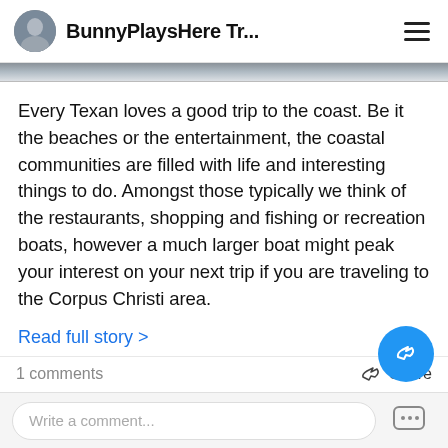BunnyPlaysHere Tr...
[Figure (photo): Partial image of a laptop or dark screen, cropped at top]
Every Texan loves a good trip to the coast. Be it the beaches or the entertainment, the coastal communities are filled with life and interesting things to do. Amongst those typically we think of the restaurants, shopping and fishing or recreation boats, however a much larger boat might peak your interest on your next trip if you are traveling to the Corpus Christi area.
Read full story >
1 comments
Share
Write a comment...